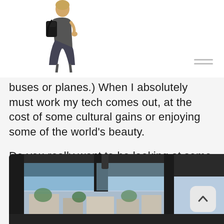[Figure (photo): A person with a backpack standing, viewed from the side, against a white background]
[Figure (other): Hamburger menu icon with two horizontal lines]
buses or planes.) When I absolutely must work my tech comes out, at the cost of some cultural gains or enjoying some of the world's beauty.
Do you really want to be looking at some screen while once-in-a-lifetime scenery or cultural experience is right outside your window?
[Figure (photo): View from inside a vehicle looking out through the windshield at a street scene]